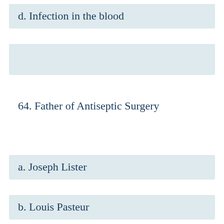d. Infection in the blood
64. Father of Antiseptic Surgery
a. Joseph Lister
b. Louis Pasteur